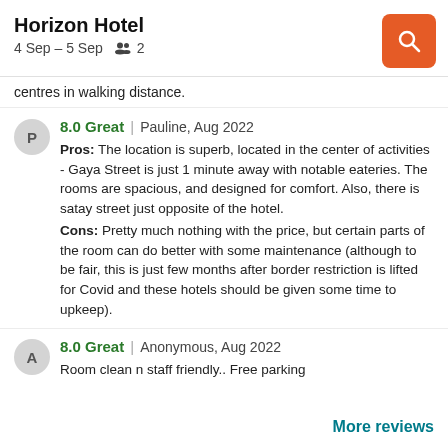Horizon Hotel | 4 Sep – 5 Sep | 2 guests
centres in walking distance.
8.0 Great | Pauline, Aug 2022
Pros: The location is superb, located in the center of activities - Gaya Street is just 1 minute away with notable eateries. The rooms are spacious, and designed for comfort. Also, there is satay street just opposite of the hotel.
Cons: Pretty much nothing with the price, but certain parts of the room can do better with some maintenance (although to be fair, this is just few months after border restriction is lifted for Covid and these hotels should be given some time to upkeep).
8.0 Great | Anonymous, Aug 2022
Room clean n staff friendly.. Free parking
More reviews